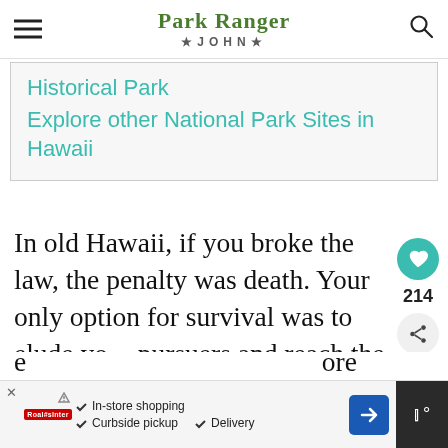Park Ranger John
Historical Park
Explore other National Park Sites in Hawaii
In old Hawaii, if you broke the law, the penalty was death. Your only option for survival was to elude your pursuers and reach the nearest puuhonua, or city of refuge. As you
[Figure (infographic): What's Next widget showing Pu'u Loa Petroglyphs thumbnail]
Ad: In-store shopping, Curbside pickup, Delivery